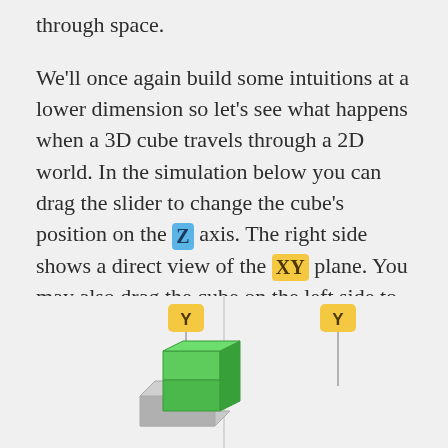through space.
We'll once again build some intuitions at a lower dimension so let's see what happens when a 3D cube travels through a 2D world. In the simulation below you can drag the slider to change the cube's position on the Z axis. The right side shows a direct view of the XY plane. You may also drag the cube on the left side to change its orientation in the space:
[Figure (illustration): 3D cube illustration showing two panels: left panel with a 3D green cube on a gray base with a Y axis label (yellow badge), and right panel showing the XY plane view with a Y axis label (yellow badge). A vertical gray divider separates the two panels.]